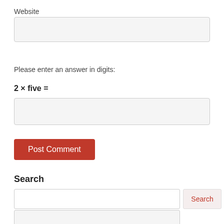Website
Please enter an answer in digits:
2 × five =
Post Comment
Search
Search